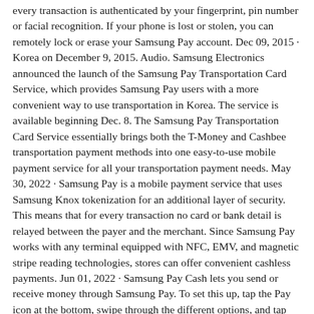every transaction is authenticated by your fingerprint, pin number or facial recognition. If your phone is lost or stolen, you can remotely lock or erase your Samsung Pay account. Dec 09, 2015 · Korea on December 9, 2015. Audio. Samsung Electronics announced the launch of the Samsung Pay Transportation Card Service, which provides Samsung Pay users with a more convenient way to use transportation in Korea. The service is available beginning Dec. 8. The Samsung Pay Transportation Card Service essentially brings both the T-Money and Cashbee transportation payment methods into one easy-to-use mobile payment service for all your transportation payment needs. May 30, 2022 · Samsung Pay is a mobile payment service that uses Samsung Knox tokenization for an additional layer of security. This means that for every transaction no card or bank detail is relayed between the payer and the merchant. Since Samsung Pay works with any terminal equipped with NFC, EMV, and magnetic stripe reading technologies, stores can offer convenient cashless payments. Jun 01, 2022 · Samsung Pay Cash lets you send or receive money through Samsung Pay. To set this up, tap the Pay icon at the bottom, swipe through the different options, and tap the Get It Now button for Samsung ... The Samsung Pay app provides a secure, quick way to pay at thousands of in-store and online merchants. Remember to use the Samsung Pay app for your next transaction! This update includes: • Simply tap your debit or credit card to see your most recent transactions. YouTube. Watch later.